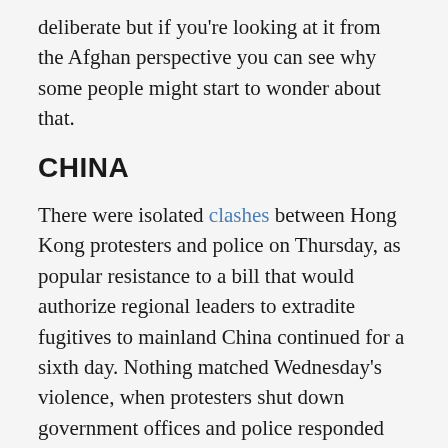deliberate but if you're looking at it from the Afghan perspective you can see why some people might start to wonder about that.
CHINA
There were isolated clashes between Hong Kong protesters and police on Thursday, as popular resistance to a bill that would authorize regional leaders to extradite fugitives to mainland China continued for a sixth day. Nothing matched Wednesday's violence, when protesters shut down government offices and police responded with rubber bullets and tear gas, for which they are now being heavily criticized:
Videos of the protests in which officers appear to be using excessive force circulated widely across social media, and the police action was condemned by pro-